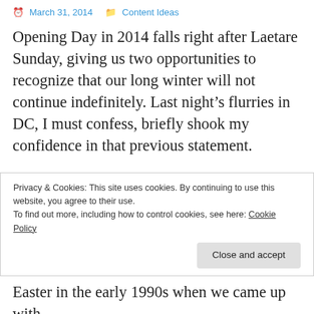March 31, 2014   Content Ideas
Opening Day in 2014 falls right after Laetare Sunday, giving us two opportunities to recognize that our long winter will not continue indefinitely. Last night’s flurries in DC, I must confess, briefly shook my confidence in that previous statement.
So how are church and baseball connected. Leo Durocher said, “Baseball is like church. Many attend, few understand.” But my wife,
Privacy & Cookies: This site uses cookies. By continuing to use this website, you agree to their use.
To find out more, including how to control cookies, see here: Cookie Policy
Easter in the early 1990s when we came up with